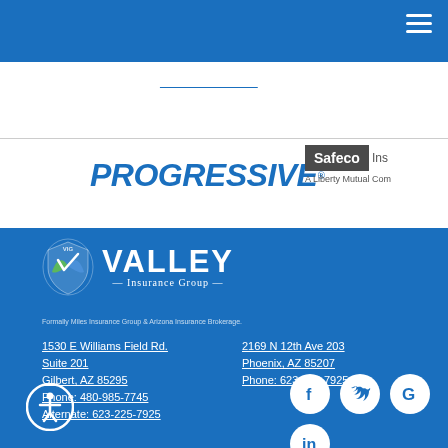[Figure (logo): Blue top navigation bar with hamburger menu icon]
[Figure (logo): Progressive insurance logo in blue italic text]
[Figure (logo): Safeco Insurance - A Liberty Mutual Company logo]
[Figure (logo): Valley Insurance Group logo with VIG shield icon]
Formally Miles Insurance Group & Arizona Insurance Brokerage.
1530 E Williams Field Rd. Suite 201 Gilbert, AZ 85295 Phone: 480-985-7745 Alternate: 623-225-7925
2169 N 12th Ave 203 Phoenix, AZ 85207 Phone: 623-225-7925
[Figure (illustration): Social media icons: Facebook, Twitter, Google, LinkedIn]
[Figure (illustration): Accessibility icon (wheelchair person in circle)]